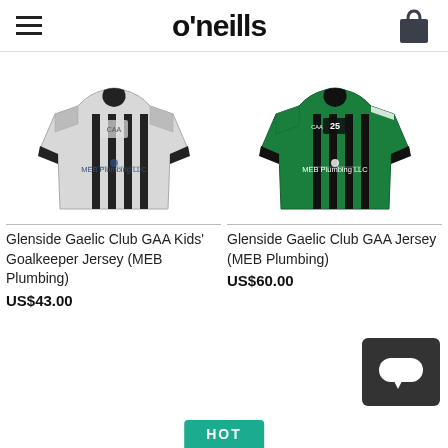o'neills
[Figure (illustration): Glenside Gaelic Club GAA Kids' Goalkeeper Jersey - white/grey with black vertical stripes, MEB Plumbing LLC sponsor]
[Figure (illustration): Glenside Gaelic Club GAA Jersey - green with black vertical stripes, number 25, MEB Plumbing LLC sponsor]
Glenside Gaelic Club GAA Kids' Goalkeeper Jersey (MEB Plumbing)
US$43.00
Glenside Gaelic Club GAA Jersey (MEB Plumbing)
US$60.00